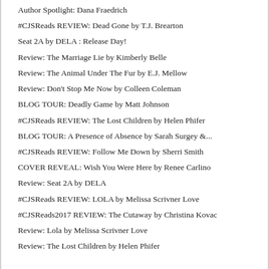Author Spotlight: Dana Fraedrich
#CJSReads REVIEW: Dead Gone by T.J. Brearton
Seat 2A by DELA : Release Day!
Review: The Marriage Lie by Kimberly Belle
Review: The Animal Under The Fur by E.J. Mellow
Review: Don't Stop Me Now by Colleen Coleman
BLOG TOUR: Deadly Game by Matt Johnson
#CJSReads REVIEW: The Lost Children by Helen Phifer
BLOG TOUR: A Presence of Absence by Sarah Surgey &...
#CJSReads REVIEW: Follow Me Down by Sherri Smith
COVER REVEAL: Wish You Were Here by Renee Carlino
Review: Seat 2A by DELA
#CJSReads REVIEW: LOLA by Melissa Scrivner Love
#CJSReads2017 REVIEW: The Cutaway by Christina Kovac
Review: Lola by Melissa Scrivner Love
Review: The Lost Children by Helen Phifer